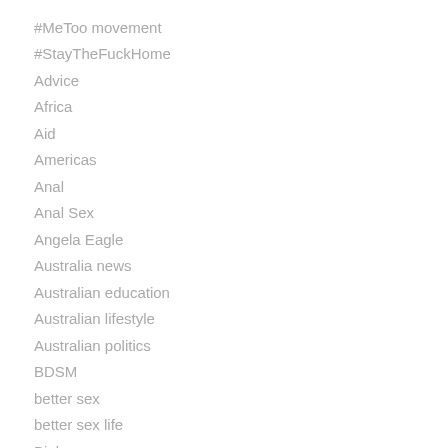#MeToo movement
#StayTheFuckHome
Advice
Africa
Aid
Americas
Anal
Anal Sex
Angela Eagle
Australia news
Australian education
Australian lifestyle
Australian politics
BDSM
better sex
better sex life
Biology